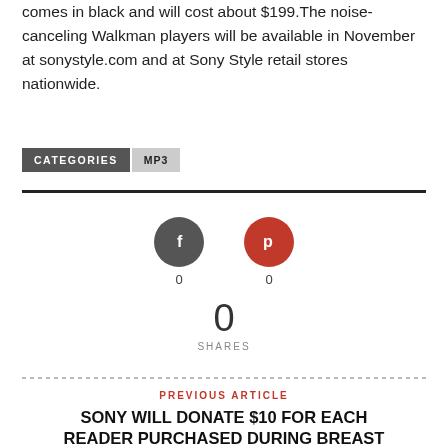comes in black and will cost about $199.The noise-canceling Walkman players will be available in November at sonystyle.com and at Sony Style retail stores nationwide.
CATEGORIES  MP3
[Figure (infographic): Social share buttons: Facebook (dark gray circle with f icon, count 0) and Pinterest (red circle with P icon, count 0). Total shares: 0 SHARES.]
PREVIOUS ARTICLE
SONY WILL DONATE $10 FOR EACH READER PURCHASED DURING BREAST CANCER AWARENESS MONTH